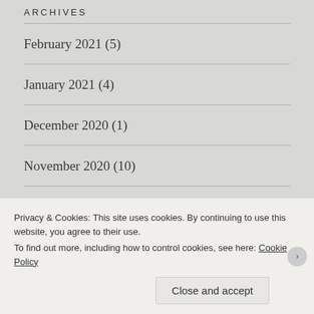ARCHIVES
February 2021 (5)
January 2021 (4)
December 2020 (1)
November 2020 (10)
October 2020 (14)
September 2020 (36)
August 2020 (11)
Privacy & Cookies: This site uses cookies. By continuing to use this website, you agree to their use.
To find out more, including how to control cookies, see here: Cookie Policy
Close and accept